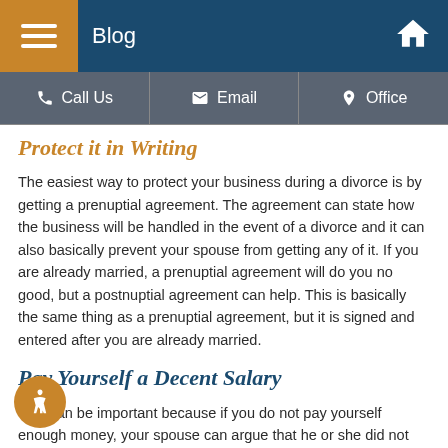Blog
Protect it in Writing
The easiest way to protect your business during a divorce is by getting a prenuptial agreement. The agreement can state how the business will be handled in the event of a divorce and it can also basically prevent your spouse from getting any of it. If you are already married, a prenuptial agreement will do you no good, but a postnuptial agreement can help. This is basically the same thing as a prenuptial agreement, but it is signed and entered after you are already married.
Pay Yourself a Decent Salary
This can be important because if you do not pay yourself enough money, your spouse can argue that he or she did not benefit from the growth of the business. Instead of taking a modest salary and waiting for retirement, take a generous salary, that way you can say you "ed" your profits into the family, rather than putting it all back into the business.